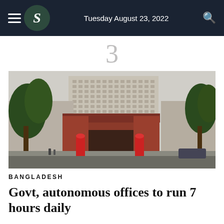Tuesday August 23, 2022
3
[Figure (photo): A photograph of a large government or institutional building complex with a red brick gate/entrance, tall multi-story office block behind it, trees flanking the entrance, and red cylindrical decorative elements near the gate. The scene is set during daytime with an overcast sky.]
BANGLADESH
Govt, autonomous offices to run 7 hours daily